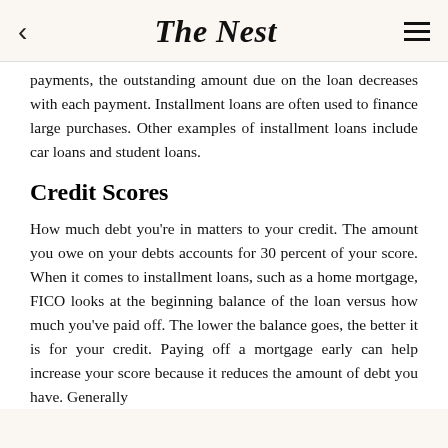The Nest
payments, the outstanding amount due on the loan decreases with each payment. Installment loans are often used to finance large purchases. Other examples of installment loans include car loans and student loans.
Credit Scores
How much debt you're in matters to your credit. The amount you owe on your debts accounts for 30 percent of your score. When it comes to installment loans, such as a home mortgage, FICO looks at the beginning balance of the loan versus how much you've paid off. The lower the balance goes, the better it is for your credit. Paying off a mortgage early can help increase your score because it reduces the amount of debt you have. Generally